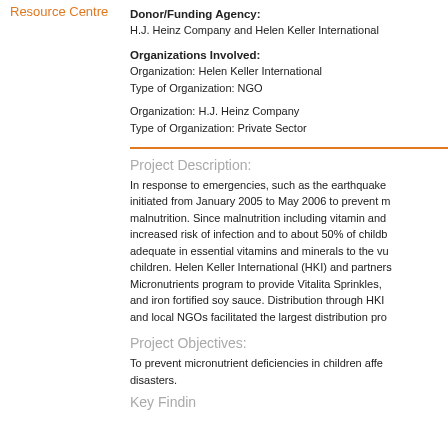Resource Centre
Donor/Funding Agency:
H.J. Heinz Company and Helen Keller International
Organizations Involved:
Organization: Helen Keller International
Type of Organization: NGO

Organization: H.J. Heinz Company
Type of Organization: Private Sector
Project Description:
In response to emergencies, such as the earthquake initiated from January 2005 to May 2006 to prevent malnutrition. Since malnutrition including vitamin and increased risk of infection and to about 50% of child adequate in essential vitamins and minerals to the v children. Helen Keller International (HKI) and partne Micronutrients program to provide Vitalita Sprinkles, and iron fortified soy sauce. Distribution through HKI and local NGOs facilitated the largest distribution pr
Project Objectives:
To prevent micronutrient deficiencies in children affe disasters.
Key Findings